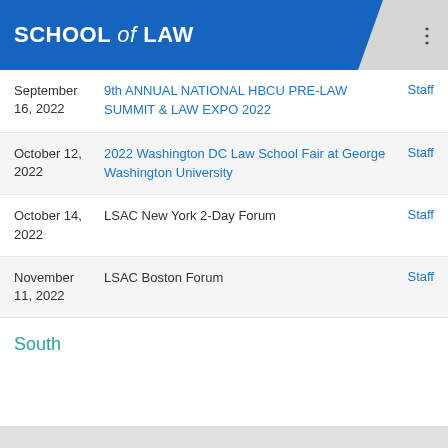SCHOOL of LAW
| Date | Event | Author |
| --- | --- | --- |
| September 16, 2022 | 9th ANNUAL NATIONAL HBCU PRE-LAW SUMMIT & LAW EXPO 2022 | Staff |
| October 12, 2022 | 2022 Washington DC Law School Fair at George Washington University | Staff |
| October 14, 2022 | LSAC New York 2-Day Forum | Staff |
| November 11, 2022 | LSAC Boston Forum | Staff |
South